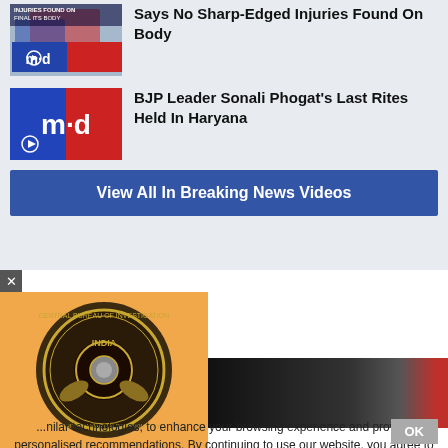[Figure (screenshot): News thumbnail showing text 'INJURIES FOUND ON FINAL ITS BODY' with m-d logo overlay]
Says No Sharp-Edged Injuries Found On Body
[Figure (logo): m-d news logo - blue left half with 'm-d' text, red right half]
BJP Leader Sonali Phogat's Last Rites Held In Haryana
View All In Breaking News Videos
[Figure (photo): CBI (Central Bureau of Investigation) India logo/seal on orange background]
[Figure (photo): Dark news thumbnail with red element]
...nilar technologies, to enhance your browsing experience and provide personalised recommendations. By continuing to use our website, you agree to our Privacy Policy and Cookie Policy.